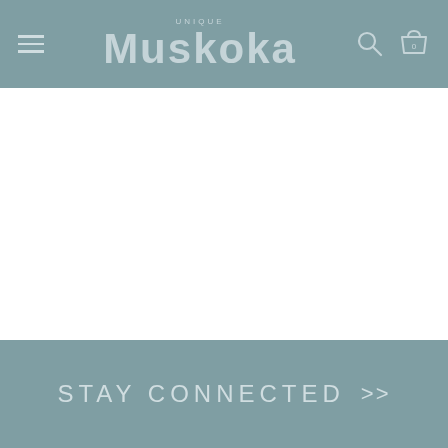UNIQUE Muskoka
[Figure (screenshot): White content area (blank/empty product or page content area)]
STAY CONNECTED >>